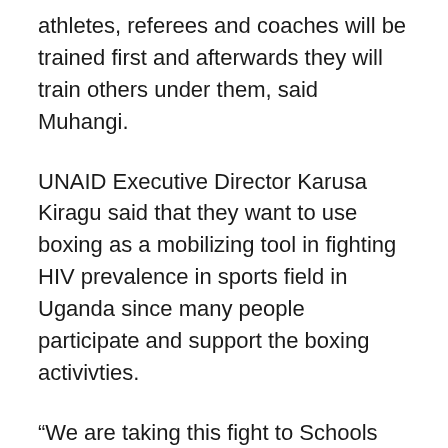athletes, referees and coaches will be trained first and afterwards they will train others under them, said Muhangi.
UNAID Executive Director Karusa Kiragu said that they want to use boxing as a mobilizing tool in fighting HIV prevalence in sports field in Uganda since many people participate and support the boxing activivties.
“We are taking this fight to Schools and sports disciplines including rugby and foot ball to sensitize people; Kiragu observed.
However, UNAID alongside other partners donated gloves and punching bags to all boxing clubs